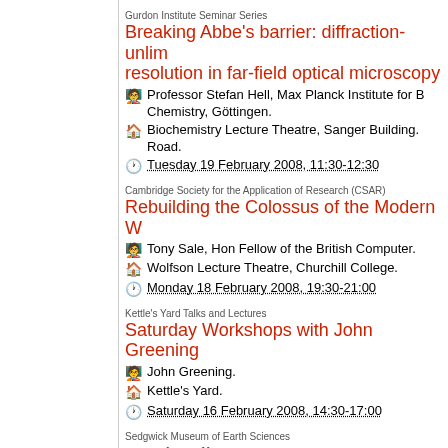Gurdon Institute Seminar Series
Breaking Abbe's barrier: diffraction-unlimited resolution in far-field optical microscopy
Professor Stefan Hell, Max Planck Institute for Biophysical Chemistry, Göttingen.
Biochemistry Lecture Theatre, Sanger Building. Hills Road.
Tuesday 19 February 2008, 11:30-12:30
Cambridge Society for the Application of Research (CSAR)
Rebuilding the Colossus of the Modern World
Tony Sale, Hon Fellow of the British Computer Society.
Wolfson Lecture Theatre, Churchill College.
Monday 18 February 2008, 19:30-21:00
Kettle's Yard Talks and Lectures
Saturday Workshops with John Greening
John Greening.
Kettle's Yard.
Saturday 16 February 2008, 14:30-17:00
Sedgwick Museum of Earth Sciences
EarthTalk
Dr Sally Gibson and Dr Lyall Anderson, Department of Earth Sciences.
Sedgwick Museum of Earth Sciences.
Saturday 16 February 2008, 13:30-14:30